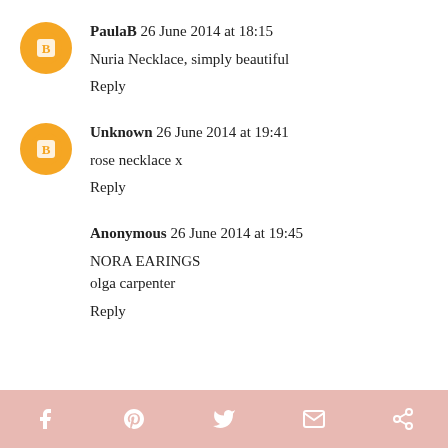PaulaB 26 June 2014 at 18:15
Nuria Necklace, simply beautiful
Reply
Unknown 26 June 2014 at 19:41
rose necklace x
Reply
Anonymous 26 June 2014 at 19:45
NORA EARINGS
olga carpenter
Reply
[Figure (other): Footer bar with social media icons: Facebook, Pinterest, Twitter, Email, Share]